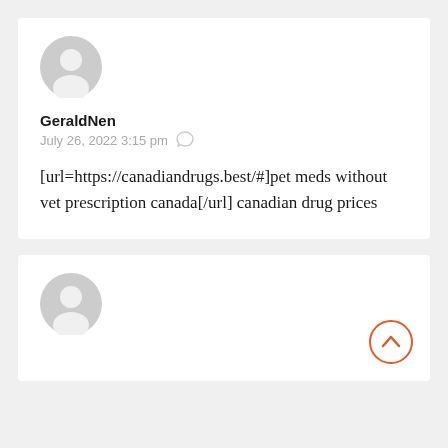[Figure (illustration): Gray default user avatar icon (circle with person silhouette)]
GeraldNen
July 26, 2022 3:15 pm
[url=https://canadiandrugs.best/#]pet meds without vet prescription canada[/url] canadian drug prices
[Figure (illustration): Gray default user avatar icon (circle with person silhouette)]
[Figure (illustration): Orange scroll-to-top button (circle with up chevron)]